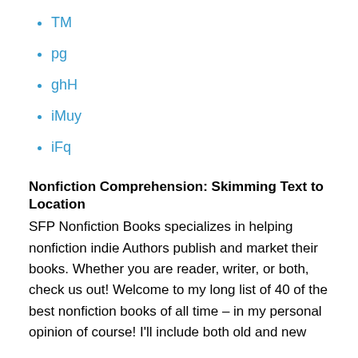TM
pg
ghH
iMuy
iFq
Nonfiction Comprehension: Skimming Text to Location
SFP Nonfiction Books specializes in helping nonfiction indie Authors publish and market their books. Whether you are reader, writer, or both, check us out! Welcome to my long list of 40 of the best nonfiction books of all time – in my personal opinion of course! I'll include both old and new